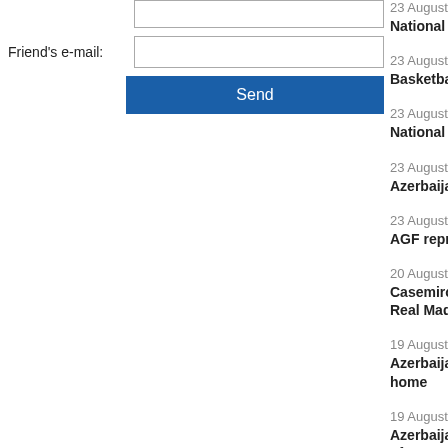Friend's e-mail:
Send
23 August 2022
Basketball - A
23 August 2022
National acto
23 August 2022
Azerbaijani ta
23 August 2022
AGF represen
20 August 2022
Casemiro: Ma
Real Madrid r
19 August 2022
Azerbaijani pa
home
19 August 2022
Azerbaijani M
of parts of fu
19 August 2022
V Islamic Soli
Azerbaijani at